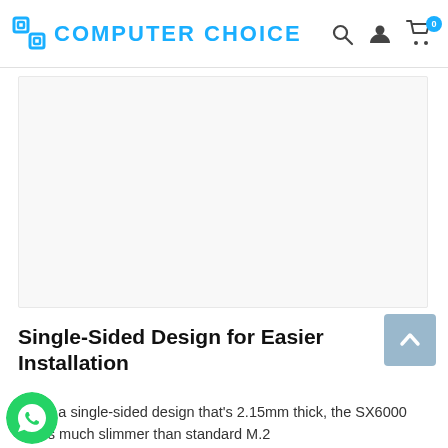COMPUTER CHOICE
[Figure (photo): Product image area - white/light gray rectangle representing a product photo placeholder]
Single-Sided Design for Easier Installation
turing a single-sided design that's 2.15mm thick, the SX6000 Pro is much slimmer than standard M.2